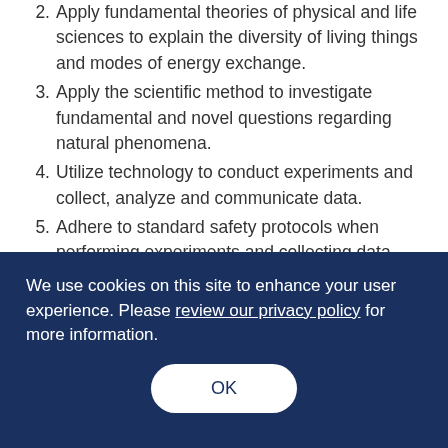2. Apply fundamental theories of physical and life sciences to explain the diversity of living things and modes of energy exchange.
3. Apply the scientific method to investigate fundamental and novel questions regarding natural phenomena.
4. Utilize technology to conduct experiments and collect, analyze and communicate data.
5. Adhere to standard safety protocols when performing experiments and collecting data.
We use cookies on this site to enhance your user experience. Please review our privacy policy for more information.
OK